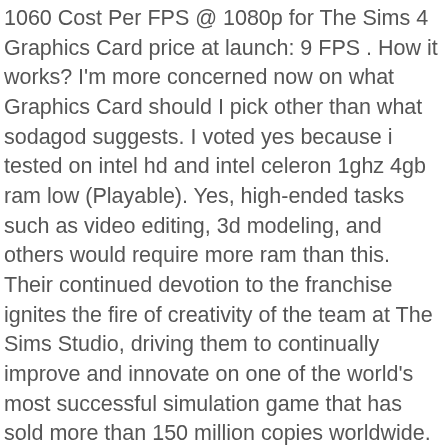1060 Cost Per FPS @ 1080p for The Sims 4 Graphics Card price at launch: 9 FPS . How it works? I'm more concerned now on what Graphics Card should I pick other than what sodagod suggests. I voted yes because i tested on intel hd and intel celeron 1ghz 4gb ram low (Playable). Yes, high-ended tasks such as video editing, 3d modeling, and others would require more ram than this. Their continued devotion to the franchise ignites the fire of creativity of the team at The Sims Studio, driving them to continually improve and innovate on one of the world's most successful simulation game that has sold more than 150 million copies worldwide. :), Can I run ? Well, you guys convinced me to build my own PC. Along with all the expansion/game/stuff packs? I'm considering buying a new PC, and I was wondering if these specs could run the Sims 4 on ultra settings (and preferably the Sims 3 also): -Intel Core i5-8100 3.60 GHz CPU -8GB or RAM -Nvidia GTX 1050Ti graphics card with 4GB memory Ultra-High Settings Limited by GPU . What does the game look like in 4K max settings vs